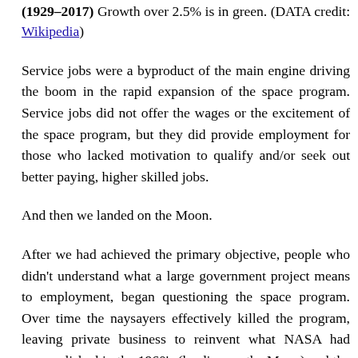(1929–2017) Growth over 2.5% is in green. (DATA credit: Wikipedia)
Service jobs were a byproduct of the main engine driving the boom in the rapid expansion of the space program. Service jobs did not offer the wages or the excitement of the space program, but they did provide employment for those who lacked motivation to qualify and/or seek out better paying, higher skilled jobs.
And then we landed on the Moon.
After we had achieved the primary objective, people who didn't understand what a large government project means to employment, began questioning the space program. Over time the naysayers effectively killed the program, leaving private business to reinvent what NASA had accomplished in the 1960's (landing on the Moon) and the 1980's (...